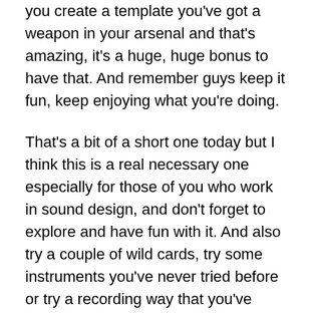you create a template you've got a weapon in your arsenal and that's amazing, it's a huge, huge bonus to have that.  And remember guys keep it fun, keep enjoying what you're doing.
That's a bit of a short one today but I think this is a real necessary one especially for those of you who work in sound design, and don't forget to explore and have fun with it. And also try a couple of wild cards, try some instruments you've never tried before or try a recording way that you've never tried before.  The way you do as a kid you'd be like what happens when I do this?  Obviously I never had those deep thoughts as a kid that wasn't true.  What happens when I do this type of thing.  I've